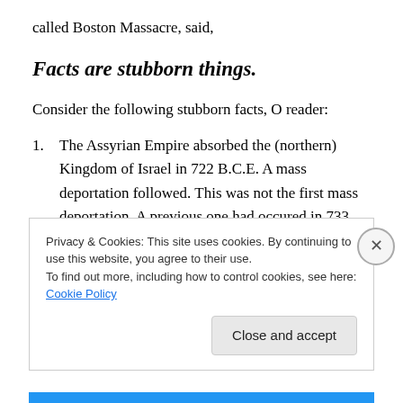called Boston Massacre, said,
Facts are stubborn things.
Consider the following stubborn facts, O reader:
The Assyrian Empire absorbed the (northern) Kingdom of Israel in 722 B.C.E.  A mass deportation followed.  This was not the first mass deportation.  A previous one had occured in 733 B.C.E., when that empire had claimed much of the territory of the (northern) Kingdom
Privacy & Cookies: This site uses cookies. By continuing to use this website, you agree to their use.
To find out more, including how to control cookies, see here: Cookie Policy
Close and accept